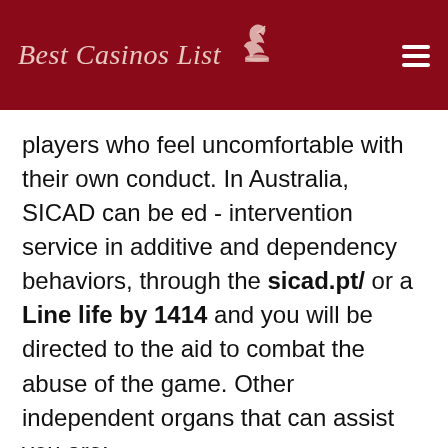Best Casinos List
players who feel uncomfortable with their own conduct. In Australia, SICAD can be ed - intervention service in additive and dependency behaviors, through the sicad.pt/ or a Line life by 1414 and you will be directed to the aid to combat the abuse of the game. Other independent organs that can assist you are:
BeGambleAware
Gamstop